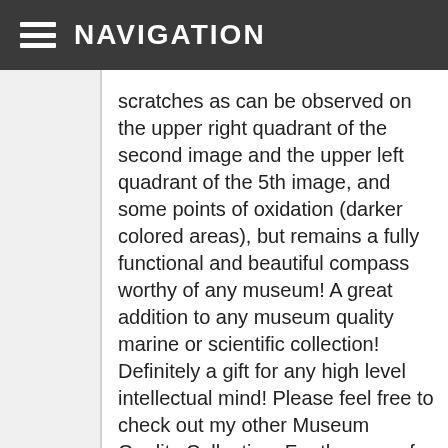NAVIGATION
scratches as can be observed on the upper right quadrant of the second image and the upper left quadrant of the 5th image, and some points of oxidation (darker colored areas), but remains a fully functional and beautiful compass worthy of any museum! A great addition to any museum quality marine or scientific collection! Definitely a gift for any high level intellectual mind! Please feel free to check out my other Museum Quality Collection. For the year of our Lord 2019 I wish you a Merry Christmas & Happy New Year. Sail Wisely & God Bless. The item “Extremely Rare La 17th Early 18th Century Z Dutch Netherlands Marine Compass” is in sale since Tuesday, February 11, 2020. This item is in the